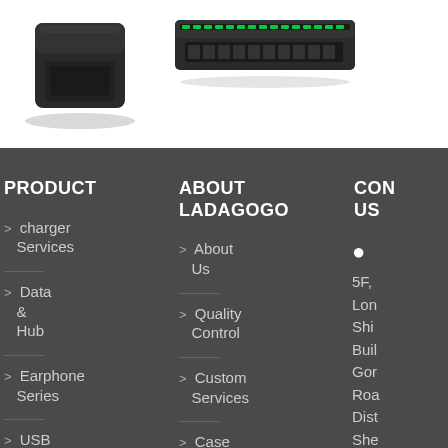[Figure (photo): Product photos: black charger cube on left, green LED USB charging hub on right, white background]
PRODUCT
> charger Services
> Data & Hub
> Earphone Series
> USB
ABOUT LADAGOGO
> About Us
> Quality Control
> Custom Services
> Case
CONTACT US
5F, Long Shid Build Gon Roa Dist She